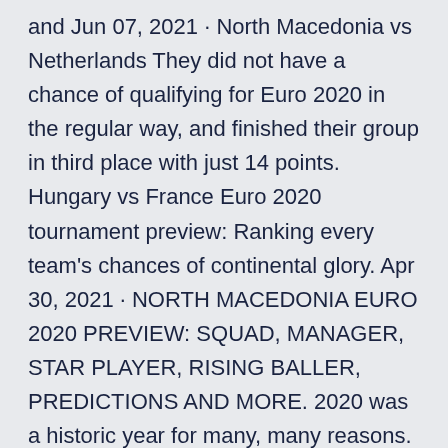and Jun 07, 2021 · North Macedonia vs Netherlands They did not have a chance of qualifying for Euro 2020 in the regular way, and finished their group in third place with just 14 points. Hungary vs France Euro 2020 tournament preview: Ranking every team's chances of continental glory. Apr 30, 2021 · NORTH MACEDONIA EURO 2020 PREVIEW: SQUAD, MANAGER, STAR PLAYER, RISING BALLER, PREDICTIONS AND MORE. 2020 was a historic year for many, many reasons. But for a certain country, it was history-making for a different kind and on a different stage. North Macedonia, a nation that only began playing football after the collapse of the Soviet Union See full list on football-oranje.com Euro 2020 Odds: Qualifying, Top Scorer.
Spain, Italy and Germany are also all in action, while the